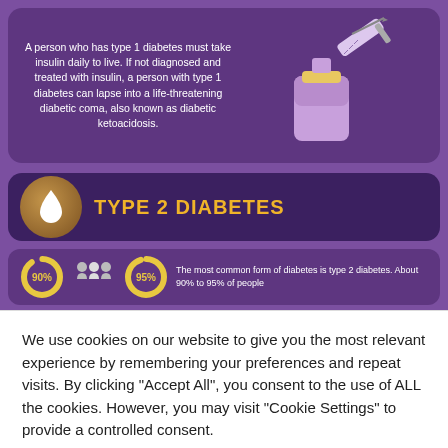[Figure (infographic): Medical infographic showing Type 1 Diabetes info panel with syringe illustration and text about insulin dependency and diabetic ketoacidosis, followed by a Type 2 Diabetes section with drop/blood icon, '90%' and '95%' donut charts with people icon, and partial text about type 2 being most common form affecting 90% to 95% of people]
We use cookies on our website to give you the most relevant experience by remembering your preferences and repeat visits. By clicking "Accept All", you consent to the use of ALL the cookies. However, you may visit "Cookie Settings" to provide a controlled consent.